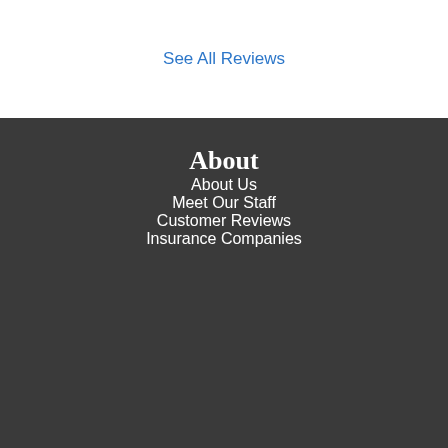See All Reviews
About
About Us
Meet Our Staff
Customer Reviews
Insurance Companies